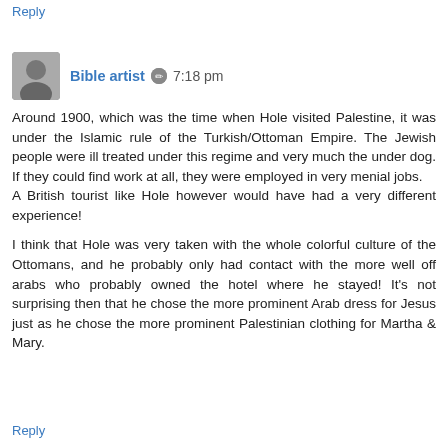Reply
Bible artist  7:18 pm
Around 1900, which was the time when Hole visited Palestine, it was under the Islamic rule of the Turkish/Ottoman Empire. The Jewish people were ill treated under this regime and very much the under dog. If they could find work at all, they were employed in very menial jobs.
A British tourist like Hole however would have had a very different experience!

I think that Hole was very taken with the whole colorful culture of the Ottomans, and he probably only had contact with the more well off arabs who probably owned the hotel where he stayed! It's not surprising then that he chose the more prominent Arab dress for Jesus just as he chose the more prominent Palestinian clothing for Martha & Mary.
Reply